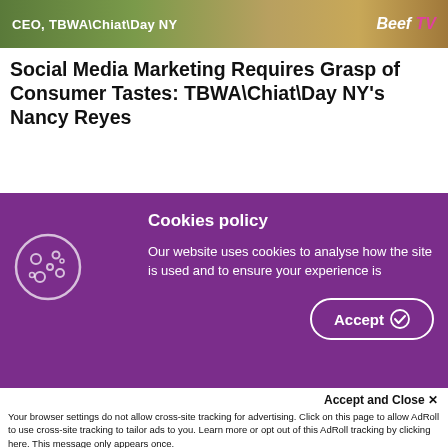[Figure (screenshot): Banner image with tropical/floral background showing text 'CEO, TBWA\Chiat\Day NY' and 'Beef TV' logo on the right]
Social Media Marketing Requires Grasp of Consumer Tastes: TBWA\Chiat\Day NY's Nancy Reyes
CANNES – Brands that seek to engage consumers on newer social media apps such as Snapchat, TikTok and BeReal must learn how people use the platforms to share content, stay in touch with each other and entertain themselves. Without these insights, marketers run the risk of turning off consumers, facing mockery and damaging their brands.
Cookies policy
Our website uses cookies to analyse how the site is used and to ensure your experience is
Accept and Close ✕
Your browser settings do not allow cross-site tracking for advertising. Click on this page to allow AdRoll to use cross-site tracking to tailor ads to you. Learn more or opt out of this AdRoll tracking by clicking here. This message only appears once.